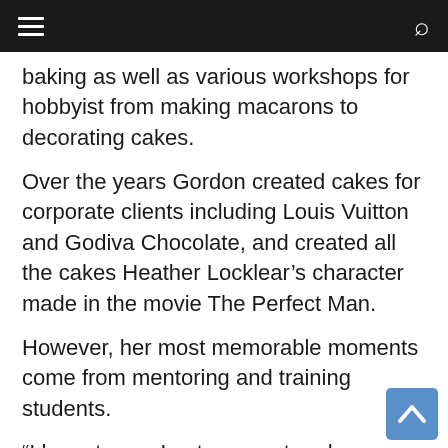Navigation bar with hamburger menu and search icon
baking as well as various workshops for hobbyist from making macarons to decorating cakes.
Over the years Gordon created cakes for corporate clients including Louis Vuitton and Godiva Chocolate, and created all the cakes Heather Locklear’s character made in the movie The Perfect Man.
However, her most memorable moments come from mentoring and training students.
“I have to say I get no greater pleasure than seeing the successes of my students,” she says. “When I look around me in the city, I look at all the top cake shops, the majority have taken classes or studied or worked with me … seeing their success in the